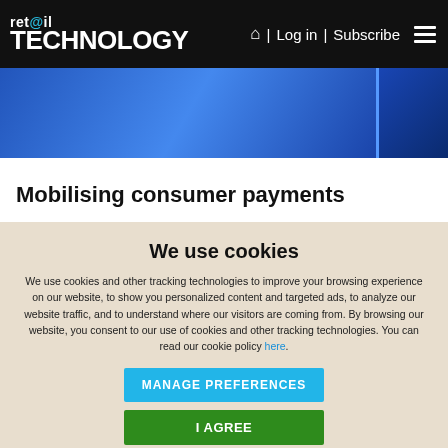ret@il TECHNOLOGY | Log in | Subscribe
[Figure (photo): Blue-toned banner image with gradient background, partial width strip]
Mobilising consumer payments
We use cookies
We use cookies and other tracking technologies to improve your browsing experience on our website, to show you personalized content and targeted ads, to analyze our website traffic, and to understand where our visitors are coming from. By browsing our website, you consent to our use of cookies and other tracking technologies. You can read our cookie policy here.
MANAGE PREFERENCES
I AGREE